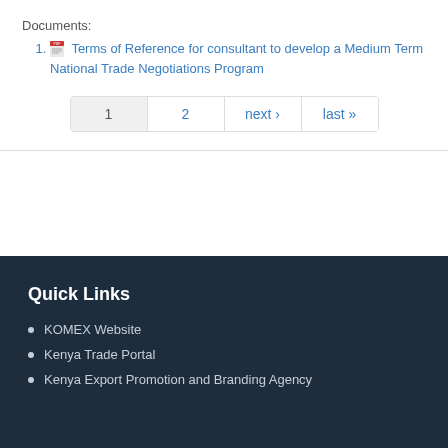Documents:
Terms of Reference for consultant to develop a Medium Term National Trade Negotiations Program
1  2  next ›  last »
Quick Links
KOMEX Website
Kenya Trade Portal
Kenya Export Promotion and Branding Agency